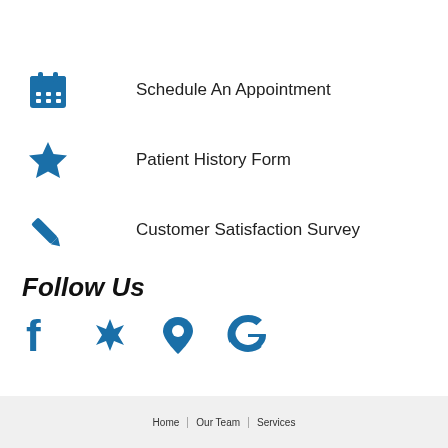Schedule An Appointment
Patient History Form
Customer Satisfaction Survey
Follow Us
[Figure (infographic): Social media icons: Facebook, Yelp, map pin/location, Google]
footer navigation bar